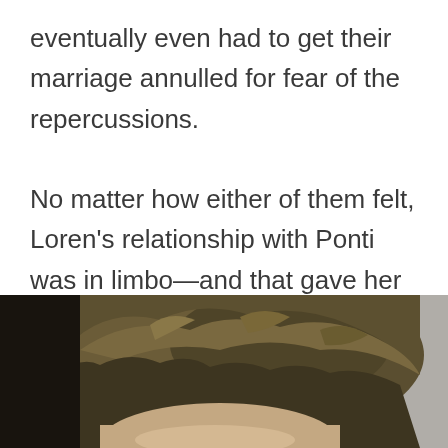eventually even had to get their marriage annulled for fear of the repercussions.

No matter how either of them felt, Loren's relationship with Ponti was in limbo—and that gave her eyes time to wander.
[Figure (photo): Close-up photo of a person's head showing styled wavy brown/dark blonde hair against a blurred grey background. Only the top portion of the head and hair is visible.]